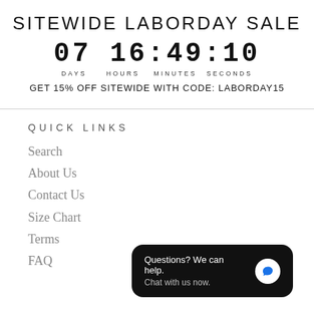SITEWIDE LABORDAY SALE
07 16:49:10 DAYS HOURS MINUTES SECONDS
GET 15% OFF SITEWIDE WITH CODE: LABORDAY15
QUICK LINKS
Search
About Us
Contact Us
Size Chart
Terms
FAQ
Questions? We can help. Chat with us now.